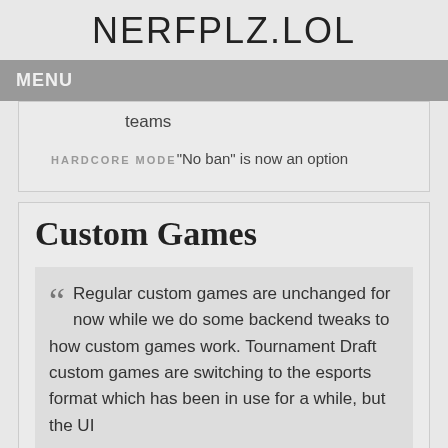NERFPLZ.LOL
MENU
teams
HARDCORE MODE "No ban" is now an option
Custom Games
Regular custom games are unchanged for now while we do some backend tweaks to how custom games work. Tournament Draft custom games are switching to the esports format which has been in use for a while, but the UI